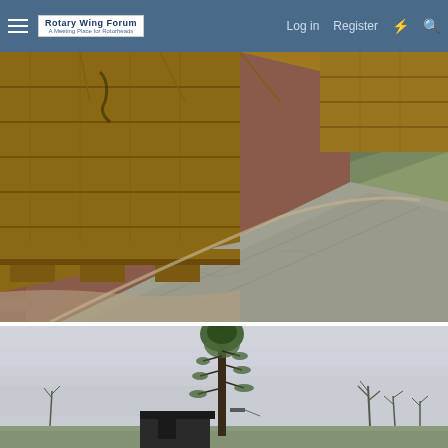Rotary Wing Forum — A Meeting Place for Rotorheads | Log in | Register
[Figure (photo): Close-up photo of a large wooden crate or shipping box sitting on red brick pavers, next to a concrete walkway. The bricks and concrete are visible at the base, with sparse grass and soil at the edges. Another wooden structure is visible in the upper right corner.]
[Figure (photo): Photo of a tall, slender pine tree against an overcast grey-white sky. Bare branches are visible at the top. In the lower portion, a dark rectangular shed or structure is partially visible, along with other bare trees in the background.]